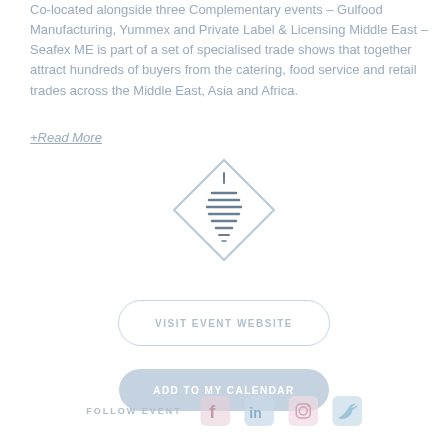Co-located alongside three Complementary events – Gulfood Manufacturing, Yummex and Private Label & Licensing Middle East – Seafex ME is part of a set of specialised trade shows that together attract hundreds of buyers from the catering, food service and retail trades across the Middle East, Asia and Africa.
+Read More
[Figure (logo): Diamond-shaped logo with a stylised tower/spiral icon inside, overlapping a light blue rounded rectangle button reading ADD TO MY CALENDAR]
VISIT EVENT WEBSITE
FOLLOW EVENT
[Figure (illustration): Social media icons: Facebook, LinkedIn, Instagram, Twitter in muted pastel colors]